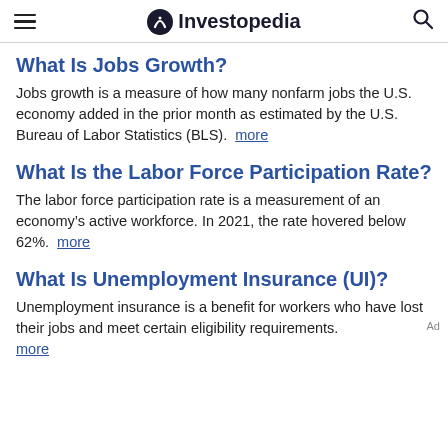Investopedia
What Is Jobs Growth?
Jobs growth is a measure of how many nonfarm jobs the U.S. economy added in the prior month as estimated by the U.S. Bureau of Labor Statistics (BLS).  more
What Is the Labor Force Participation Rate?
The labor force participation rate is a measurement of an economy’s active workforce. In 2021, the rate hovered below 62%.  more
What Is Unemployment Insurance (UI)?
Unemployment insurance is a benefit for workers who have lost their jobs and meet certain eligibility requirements. more